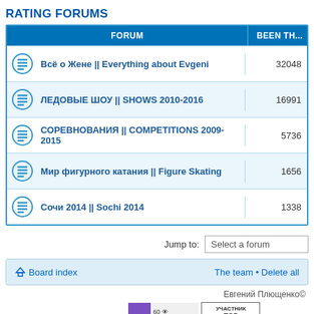RATING FORUMS
| FORUM | BEEN THA... |
| --- | --- |
| Всё о Жене || Everything about Evgeni | 32048 |
| ЛЕДОВЫЕ ШОУ || SHOWS 2010-2016 | 16991 |
| СОРЕВНОВАНИЯ || COMPETITIONS 2009-2015 | 5736 |
| Мир фигурного катания || Figure Skating | 1656 |
| Сочи 2014 || Sochi 2014 | 1338 |
Jump to:
Board index
The team • Delete all
Евгений Плющенко©
[Figure (screenshot): Forum rating badges: purple stats badge with counts 60, 28, 26; Rambler TOP 100 badge; Рейтинг@ link]